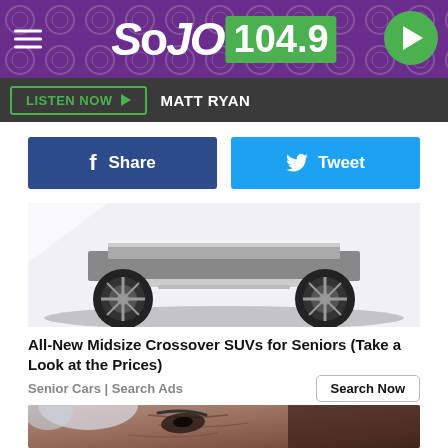SOJO 104.9
LISTEN NOW  MATT RYAN
[Figure (other): Facebook Share button and Twitter Tweet button]
[Figure (photo): Underside view of a luxury crossover SUV showing wheels and chassis]
All-New Midsize Crossover SUVs for Seniors (Take a Look at the Prices)
Senior Cars | Search Ads
[Figure (photo): Close-up photo of an elderly person's face with white hair and wrinkled skin]